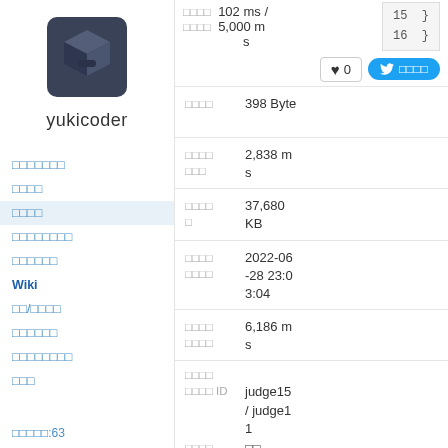[Figure (logo): yukicoder box logo (dark blue/gray 3D cube icon)]
yukicoder
□□□□□□□
□□□□
□□□□ (active/highlighted)
□□□□□□□□
□□□□□□
Wiki
□□/□□□□
□□□□□□
□□□□□□□□
□□□
□□□□□:63
102 ms / □□□□  5,000 ms
15  }
16  }
♥ 0
🐦 □□□□
□□□□  398 Byte
□□□□□□□  2,838 ms
□□□□□  37,680 KB
□□□□□□□□  2022-06-28 23:03:04
□□□□□□□□  6,186 ms
□□□□
□□□□ ID  judge15 / judge11
□□□□  □□